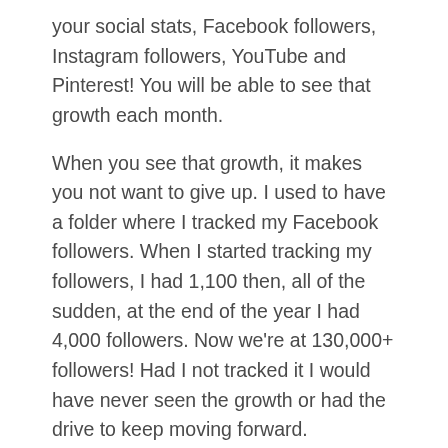your social stats, Facebook followers, Instagram followers, YouTube and Pinterest! You will be able to see that growth each month.
When you see that growth, it makes you not want to give up. I used to have a folder where I tracked my Facebook followers. When I started tracking my followers, I had 1,100 then, all of the sudden, at the end of the year I had 4,000 followers. Now we're at 130,000+ followers! Had I not tracked it I would have never seen the growth or had the drive to keep moving forward.
This 12-month calendar will help you grow your Followers and build your creative business online. Grab it here for just $17.00!!
It's an instant download and then you can go get